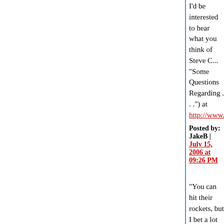I'd be interested to hear what you think of Steve C... "Some Questions Regarding . . .") at http://www.th...
Posted by: JakeB | July 15, 2006 at 09:26 PM
"You can hit their rockets, but I bet a lot of that ha... that a lot of the targets that the Israelis know whe...
Large set of targets; it's going to take a while.
Hezbollah has been bragging for a few years abo... and they've been accurate.
It's unlikely that if the southern Canadian border w... with thousands of missiles that could reach Texas... killing people in their kitchens, that America would...
It's awful.
As I keep saying: it is what it is.
Posted by: Gary Farber | July 15, 2006 at 09:41 PM
Condi Rice, like most of humanity, is a more plaus... see that she is up to it either.